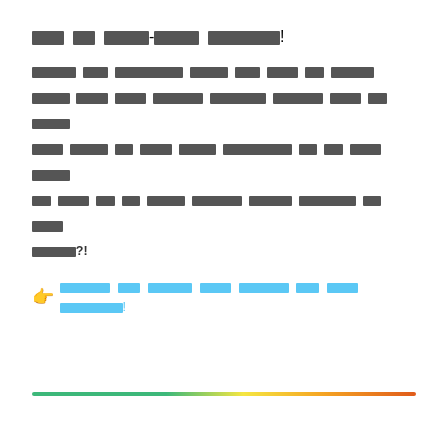[redacted title text with exclamation mark]
[redacted body text paragraph with bold ending ?!]
[redacted CTA text with emoji pointer]
[Figure (other): Horizontal gradient bar from teal/green on left through yellow to orange-red on right, used as a decorative page divider near the bottom of the page.]